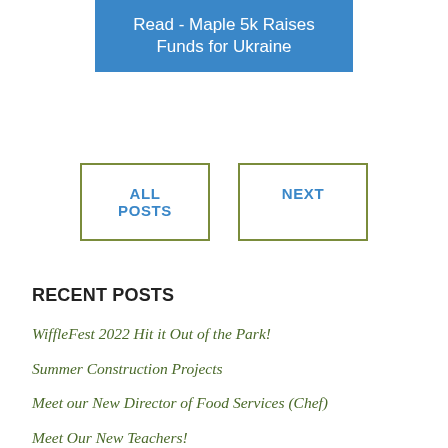[Figure (other): Blue banner with text: Read - Maple 5k Raises Funds for Ukraine]
ALL POSTS
NEXT
RECENT POSTS
WiffleFest 2022 Hit it Out of the Park!
Summer Construction Projects
Meet our New Director of Food Services (Chef)
Meet Our New Teachers!
A Poem for Friends